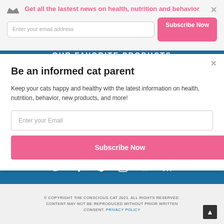Get all the lastest news on health, nutrition and behavior
Enter your email address
Subscribe Now
OUR FAVORITE PRODUCTS
POWERED BY SUMO
Be an informed cat parent
Keep your cats happy and healthy with the latest information on health, nutrition, behavior, new products, and more!
Enter your Email
Subscribe Now
© COPYRIGHT THE CONSCIOUS CAT 2021. ALL RIGHTS RESERVED. CONTENT MAY NOT BE REPRODUCED WITHOUT PRIOR WRITTEN CONSENT. PRIVACY POLICY